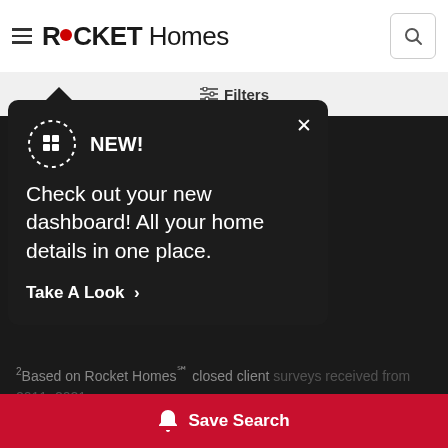ROCKET Homes
[Figure (screenshot): Rocket Homes website header with hamburger menu, Rocket Homes logo, and search icon]
[Figure (screenshot): NEW! popup tooltip with dashboard icon, close button, and Take A Look CTA. Text: Check out your new dashboard! All your home details in one place.]
Based on ... comparison to public data records.
Based on Rocket Homes℠ closed client surveys received from 2011–2021.
*Mortgage rates could change daily. Remember – we do not have all your information, so the rate and payment results you see above may not completely reflect your actual situation. Rocket Mortgage offers a wide variety of loan options, and you might still qualify for a loan even if your situation doesn't match our assumptions. Certain restrictions m...
Save Search